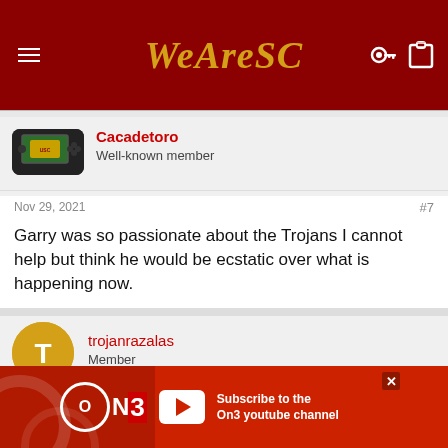WeAreSC
[Figure (screenshot): User avatar for Cacadetoro showing a PSP gaming device with green screen]
Cacadetoro
Well-known member
Nov 29, 2021
#7
Garry was so passionate about the Trojans I cannot help but think he would be ecstatic over what is happening now.
[Figure (illustration): Yellow circle avatar with letter T for user trojanrazalas]
trojanrazalas
Member
Jan 13, 2022
[Figure (logo): On3 Subscribe to the On3 youtube channel advertisement banner]